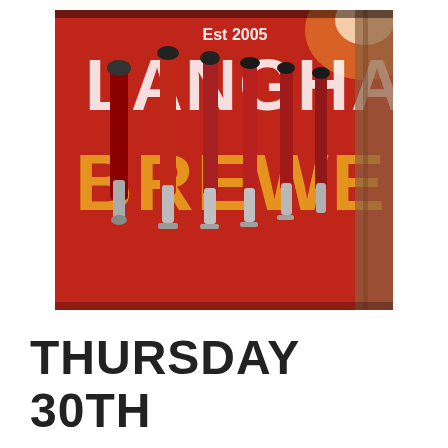[Figure (photo): Photo of beer tap handles in front of a red wall displaying 'LANGHAM BREWERY Est 2005' signage with large white and yellow letters. Multiple chrome and black beer tap handles are lined up in a row.]
THURSDAY 30TH